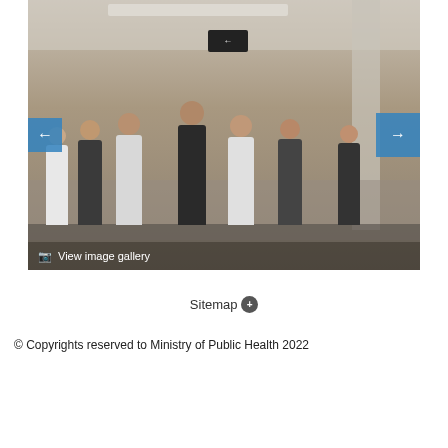[Figure (photo): A group of people, some in white lab coats and some in dark clothing, walking through a hospital corridor. Navigation arrows (left and right) are overlaid on the image. A 'View image gallery' label is shown at the bottom of the image.]
Sitemap +
© Copyrights reserved to Ministry of Public Health 2022